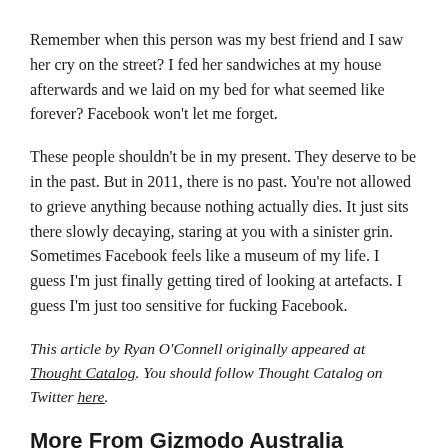Remember when this person was my best friend and I saw her cry on the street? I fed her sandwiches at my house afterwards and we laid on my bed for what seemed like forever? Facebook won't let me forget.
These people shouldn't be in my present. They deserve to be in the past. But in 2011, there is no past. You're not allowed to grieve anything because nothing actually dies. It just sits there slowly decaying, staring at you with a sinister grin. Sometimes Facebook feels like a museum of my life. I guess I'm just finally getting tired of looking at artefacts. I guess I'm just too sensitive for fucking Facebook.
This article by Ryan O'Connell originally appeared at Thought Catalog. You should follow Thought Catalog on Twitter here.
More From Gizmodo Australia